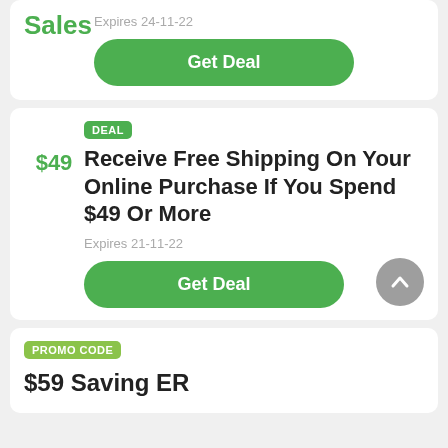Sales
Expires 24-11-22
Get Deal
DEAL
Receive Free Shipping On Your Online Purchase If You Spend $49 Or More
$49
Expires 21-11-22
Get Deal
PROMO CODE
$59 Saving ER